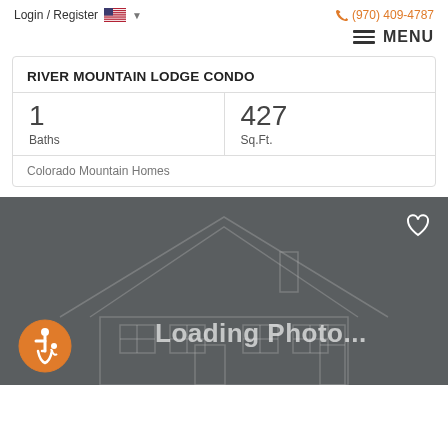Login / Register   (970) 409-4787
MENU
RIVER MOUNTAIN LODGE CONDO
|  |  |
| --- | --- |
| 1
Baths | 427
Sq.Ft. |
Colorado Mountain Homes
[Figure (photo): Loading Photo... placeholder image of a house outline on dark gray background with accessibility icon and heart icon]